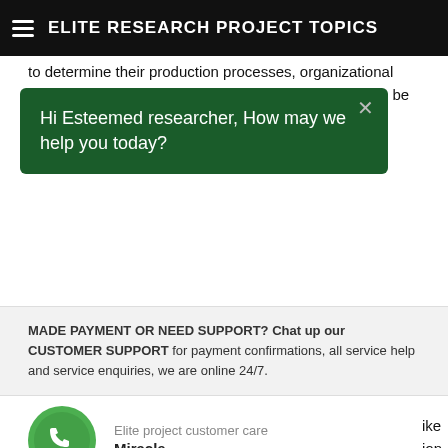ELITE RESEARCH PROJECT TOPICS
to determine their production processes, organizational chart and determine the requirement and conditions to be fulfilled in the position of such
Hi Esteemed researcher, How may we help you today?
MADE PAYMENT OR NEED SUPPORT? Chat up our CUSTOMER SUPPORT for payment confirmations, all service help and service enquiries, we are online 24/7.
Elite project customer care
Miracle
information.
personal interview of some people.
5.   Internet.